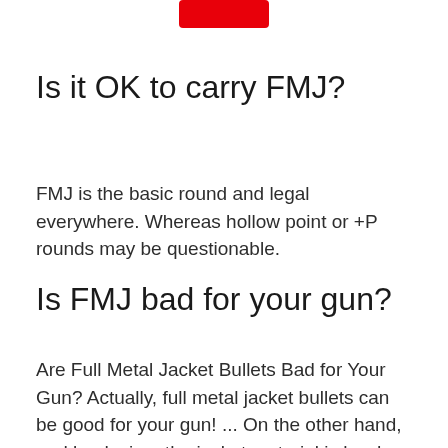[Figure (other): Red rounded rectangle bar at top center of page]
Is it OK to carry FMJ?
FMJ is the basic round and legal everywhere. Whereas hollow point or +P rounds may be questionable.
Is FMJ bad for your gun?
Are Full Metal Jacket Bullets Bad for Your Gun? Actually, full metal jacket bullets can be good for your gun! ... On the other hand, and by design, the jacket material is harder than lead. So as it's forced through the rifling